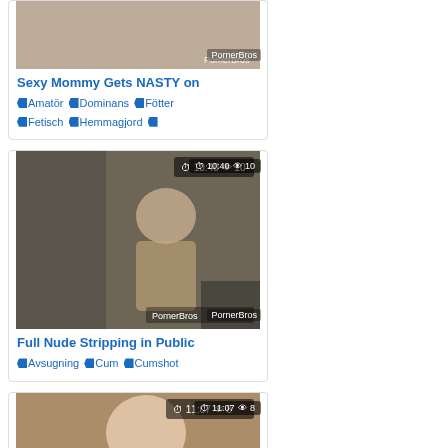[Figure (photo): Video thumbnail showing partial view of a person, with PornerBros watermark]
Sexy Mommy Gets NASTY on
🏷 Amatör 🏷 Dominans 🏷 Fötter 🏷 Fetisch 🏷 Hemmagjord 🏷
[Figure (photo): Video thumbnail showing blonde woman outdoors near a car, duration 10:40 views 10, PornerBros watermark]
Full Nude Stripping in Public
🏷 Avsugning 🏷 Cum 🏷 Cumshot
[Figure (photo): Video thumbnail showing blonde woman in red top, duration 11:07 views 8]